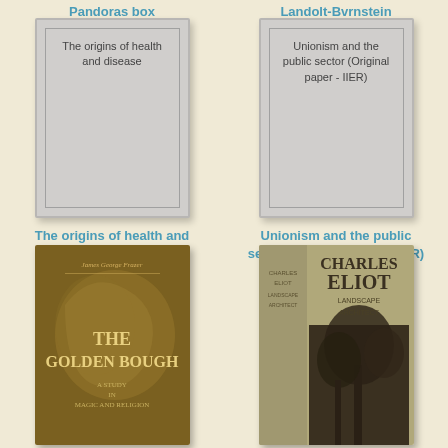Pandoras box
Landolt-Bvrnstein
[Figure (illustration): Gray placeholder book cover for 'The origins of health and disease']
[Figure (illustration): Gray placeholder book cover for 'Unionism and the public sector (Original paper - IIER)']
The origins of health and disease
Unionism and the public sector (Original paper - IIER)
[Figure (photo): Book cover: The Golden Bough - A Study in Magic and Religion by James George Frazer. Dark golden-brown decorative cover with ornate text.]
[Figure (photo): Book cover: Charles Eliot Landscape Architect. Tan/khaki cover with tree photograph and text 'Charles Eliot Landscape Architect'.]